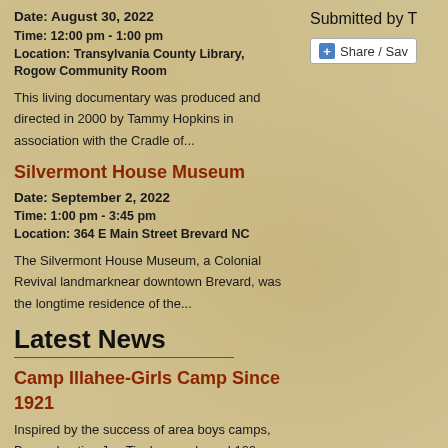Date: August 30, 2022
Time: 12:00 pm - 1:00 pm
Location: Transylvania County Library, Rogow Community Room
This living documentary was produced and directed in 2000 by Tammy Hopkins in association with the Cradle of...
Silvermont House Museum
Date: September 2, 2022
Time: 1:00 pm - 3:45 pm
Location: 364 E Main Street Brevard NC
The Silvermont House Museum, a Colonial Revival landmarknear downtown Brevard, was the longtime residence of the...
Latest News
Camp Illahee-Girls Camp Since 1921
Inspired by the success of area boys camps, Brevard native Joe Tinsley purchased 100 acres in 1919 outside
Submitted by T
Share / Sav